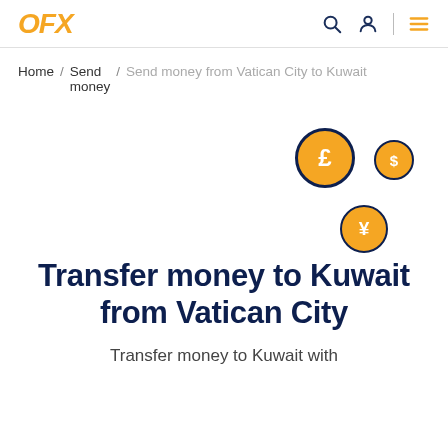OFX — navigation bar with search, account, and menu icons
Home / Send money / Send money from Vatican City to Kuwait
[Figure (illustration): Three currency coins: a large pound (£) coin, a smaller dollar ($) coin, and a yen (¥) coin, arranged decoratively on a white background with dark navy circular borders and orange fill.]
Transfer money to Kuwait from Vatican City
Transfer money to Kuwait with